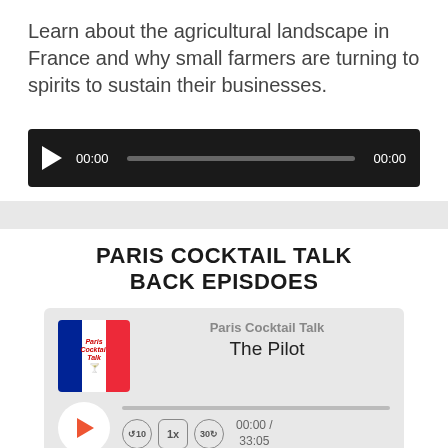Learn about the agricultural landscape in France and why small farmers are turning to spirits to sustain their businesses.
[Figure (screenshot): Audio player widget with black background, play button (triangle), time display 00:00, progress bar, and end time 00:00]
PARIS COCKTAIL TALK BACK EPISDOES
[Figure (screenshot): Podcast card for Paris Cocktail Talk - The Pilot episode with French flag thumbnail, play button, progress bar, playback controls (skip back 10, 1x speed, skip forward 30), time 00:00 / 33:05, SUBSCRIBE and SHARE buttons]